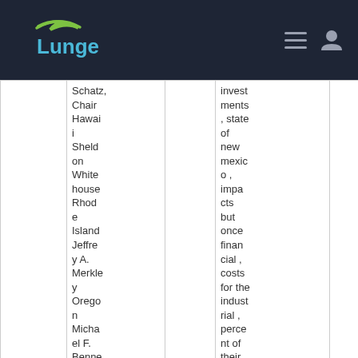Lunge navigation bar with logo and hamburger/user icons
|  | Names |  | Content |  |
| --- | --- | --- | --- | --- |
|  | Schatz, Chair Hawaii Sheldon Whitehouse Rhode Island Jeffrey A. Merkley Oregon Michael F. Bennet Color... |  | investments, state of new mexico, impacts but once financial, costs for the industrial, percent of their electricity, costs... |  |
| SCCC_Clim |  |  |  |  |